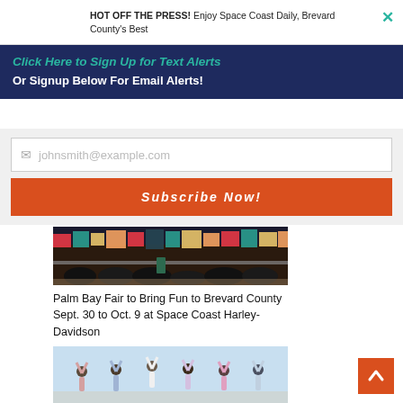HOT OFF THE PRESS! Enjoy Space Coast Daily, Brevard County's Best
Click Here to Sign Up for Text Alerts
Or Signup Below For Email Alerts!
johnsmith@example.com
Subscribe Now!
[Figure (photo): Colorful fair/carnival scene at night with lights and crowds]
Palm Bay Fair to Bring Fun to Brevard County Sept. 30 to Oct. 9 at Space Coast Harley-Davidson
[Figure (photo): Group of people outdoors with arms raised in celebration against a light sky background]